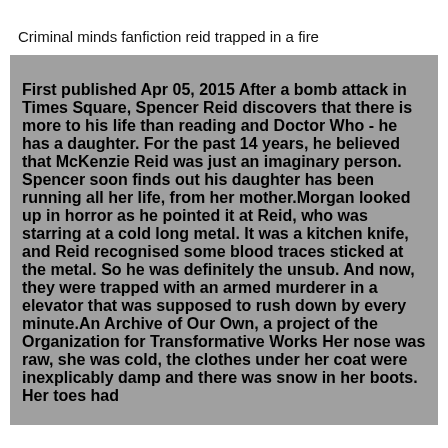Criminal minds fanfiction reid trapped in a fire
First published Apr 05, 2015 After a bomb attack in Times Square, Spencer Reid discovers that there is more to his life than reading and Doctor Who - he has a daughter. For the past 14 years, he believed that McKenzie Reid was just an imaginary person. Spencer soon finds out his daughter has been running all her life, from her mother.Morgan looked up in horror as he pointed it at Reid, who was starring at a cold long metal. It was a kitchen knife, and Reid recognised some blood traces sticked at the metal. So he was definitely the unsub. And now, they were trapped with an armed murderer in a elevator that was supposed to rush down by every minute.An Archive of Our Own, a project of the Organization for Transformative Works Her nose was raw, she was cold, the clothes under her coat were inexplicably damp and there was snow in her boots. Her toes had